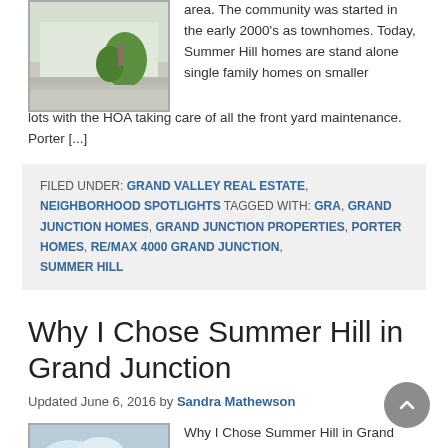[Figure (photo): Photo of a home exterior showing a sidewalk, lawn, and green plant/shrub near a building]
area. The community was started in the early 2000's as townhomes. Today, Summer Hill homes are stand alone single family homes on smaller lots with the HOA taking care of all the front yard maintenance. Porter [...]
FILED UNDER: GRAND VALLEY REAL ESTATE, NEIGHBORHOOD SPOTLIGHTS TAGGED WITH: GRA, GRAND JUNCTION HOMES, GRAND JUNCTION PROPERTIES, PORTER HOMES, RE/MAX 4000 GRAND JUNCTION, SUMMER HILL
Why I Chose Summer Hill in Grand Junction
Updated June 6, 2016 by Sandra Mathewson
[Figure (photo): Photo of a home or outdoor scene with sky and greenery]
Why I Chose Summer Hill in Grand Junction For My New Home For...